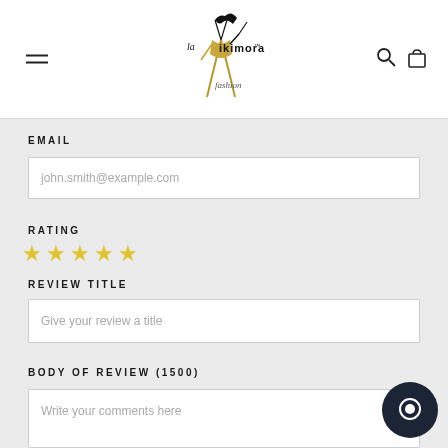[Figure (logo): Nikimora fashion logo with stylized gold figure and handwritten text, centered in navigation bar]
EMAIL
john.smith@example.com
RATING
[Figure (other): Five gold star rating icons]
REVIEW TITLE
Give your review a title
BODY OF REVIEW (1500)
Write your comments here